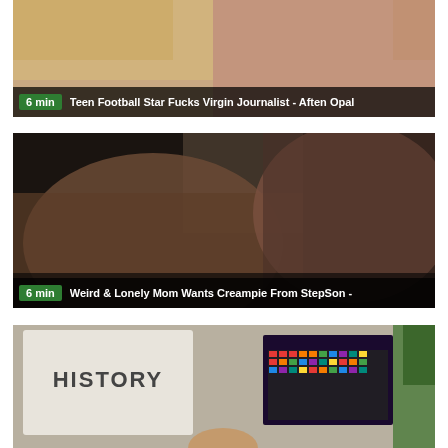[Figure (screenshot): Video thumbnail 1: skin-toned background, blonde hair visible, with overlay bar showing '6 min' and title 'Teen Football Star Fucks Virgin Journalist - Aften Opal']
[Figure (screenshot): Video thumbnail 2: dark dramatic scene with man and dark-haired woman facing each other, overlay bar showing '6 min' and title 'Weird & Lonely Mom Wants Creampie From StepSon -']
[Figure (screenshot): Video thumbnail 3: classroom scene with whiteboard reading HISTORY and a periodic table of elements poster visible]